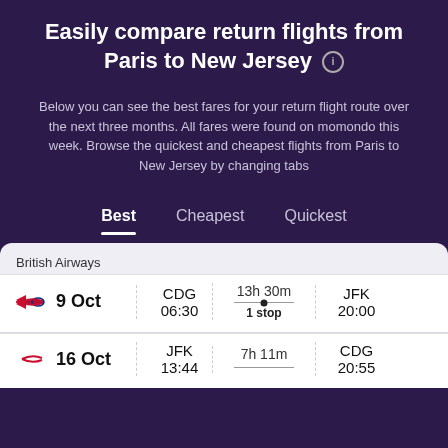Easily compare return flights from Paris to New Jersey
Below you can see the best fares for your return flight route over the next three months. All fares were found on momondo this week. Browse the quickest and cheapest flights from Paris to New Jersey by changing tabs
Best | Cheapest | Quickest
British Airways
| Date | From | Duration | To |
| --- | --- | --- | --- |
| 9 Oct | CDG 06:30 | 13h 30m 1 stop | JFK 20:00 |
| 16 Oct | JFK 13:44 | 7h 11m | CDG 20:55 |